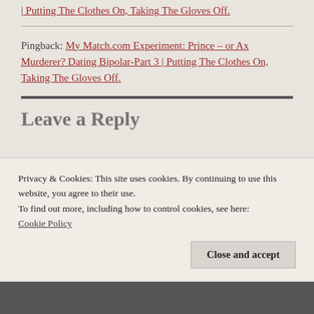| Putting The Clothes On, Taking The Gloves Off.
Pingback: My Match.com Experiment: Prince – or Ax Murderer? Dating Bipolar-Part 3 | Putting The Clothes On, Taking The Gloves Off.
Leave a Reply
Privacy & Cookies: This site uses cookies. By continuing to use this website, you agree to their use. To find out more, including how to control cookies, see here: Cookie Policy